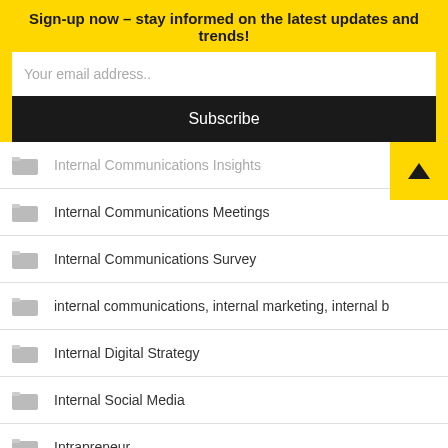Sign-up now – stay informed on the latest updates and trends!
Your email address..
Subscribe
Internal Communications Insights
Internal Communications Meetings
Internal Communications Survey
internal communications, internal marketing, internal b
Internal Digital Strategy
Internal Social Media
Intrapreneur
Intrapreneurship